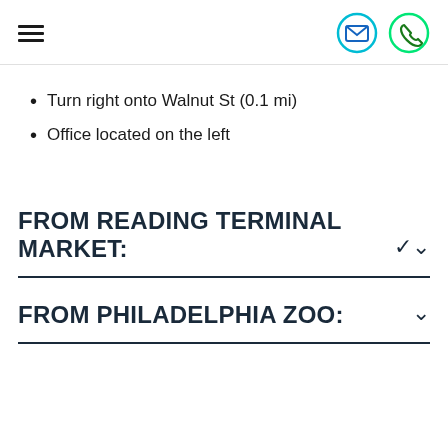Navigation header with hamburger menu, email icon, and phone icon
Turn right onto Walnut St (0.1 mi)
Office located on the left
FROM READING TERMINAL MARKET:
FROM PHILADELPHIA ZOO: